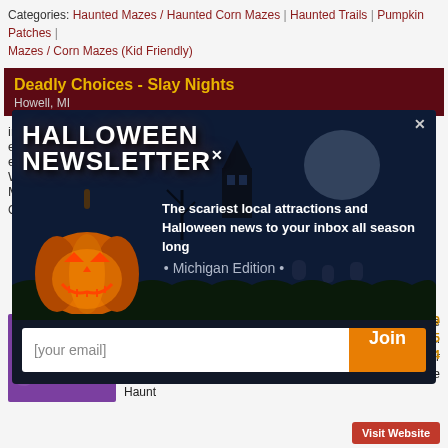Categories: Haunted Mazes / Haunted Corn Mazes | Haunted Trails | Pumpkin Patches | Mazes / Corn Mazes (Kid Friendly)
Deadly Choices - Slay Nights
Howell, MI
int... en... en... Wi... Mo... Cat...
[Figure (screenshot): Halloween Newsletter popup overlay with a glowing jack-o-lantern pumpkin, haunted house in background, text 'HALLOWEEN NEWSLETTER', 'The scariest local attractions and Halloween news to your inbox all season long', '• Michigan Edition •', email input field and orange Join button]
[Figure (logo): AZRA Haunted House logo in purple]
Detroit's newest and most terrifying haunted house experience. Each chamber is more menacing than the last. Every turn holds a new terror, so no matter what your darkest fear is, we've got it covered. Rated number one Haunt
Photos: 9
Rating: 4.5/5
Reviews: 24
Visit Website